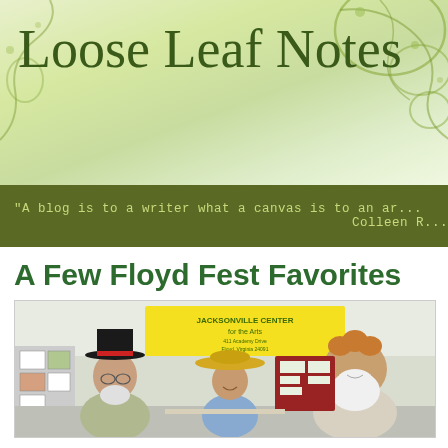Loose Leaf Notes
"A blog is to a writer what a canvas is to an ar... Colleen R...
A Few Floyd Fest Favorites
[Figure (photo): Three people posing at a Jacksonville Center for the Arts booth at Floyd Fest. Left person wears a black top hat with red band and gray t-shirt. Center person is a woman in a wide-brim straw hat and blue sleeveless top. Right person has a large white beard and curly hair, wearing a light shirt.]